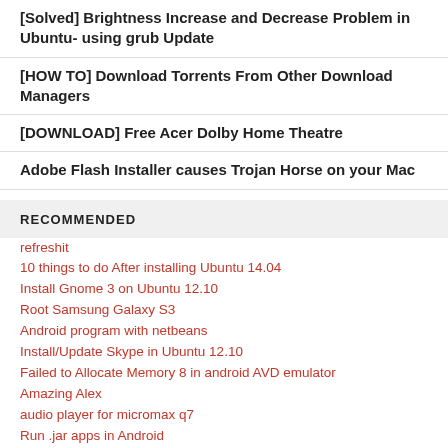[Solved] Brightness Increase and Decrease Problem in Ubuntu- using grub Update
[HOW TO] Download Torrents From Other Download Managers
[DOWNLOAD] Free Acer Dolby Home Theatre
Adobe Flash Installer causes Trojan Horse on your Mac
RECOMMENDED
refreshit
10 things to do After installing Ubuntu 14.04
Install Gnome 3 on Ubuntu 12.10
Root Samsung Galaxy S3
Android program with netbeans
Install/Update Skype in Ubuntu 12.10
Failed to Allocate Memory 8 in android AVD emulator
Amazing Alex
audio player for micromax q7
Run .jar apps in Android